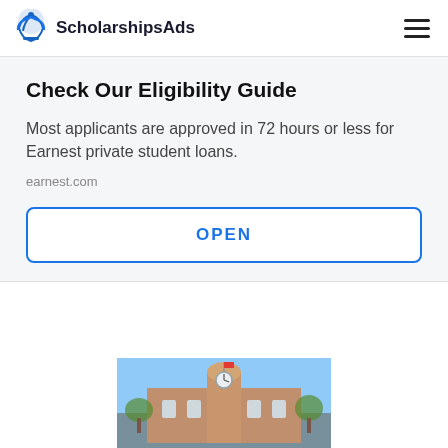ScholarshipsAds
Check Our Eligibility Guide
Most applicants are approved in 72 hours or less for Earnest private student loans.
earnest.com
OPEN
[Figure (photo): Photograph of a historic brick building with a dome/clock tower, likely a university or institutional building, with trees in the foreground and a blue sky background.]